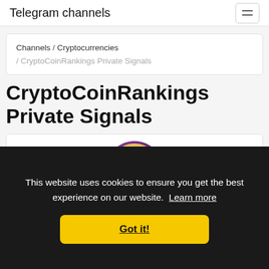Telegram channels
Channels / Cryptocurrencies / CryptoCoinRankings Private Signals
CryptoCoinRankings Private Signals
[Figure (illustration): Purple and gold Bitcoin coin logo for CryptoCoinRankings Private Signals]
This website uses cookies to ensure you get the best experience on our website. Learn more
Got it!